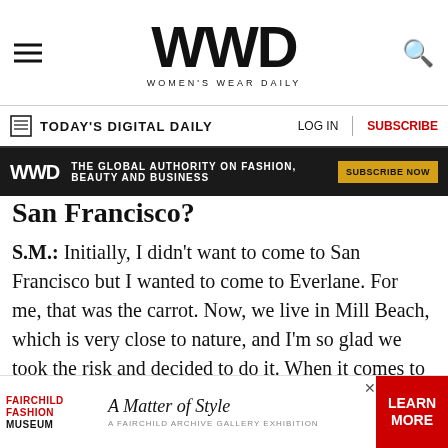WWD WOMEN'S WEAR DAILY
TODAY'S DIGITAL DAILY | LOG IN | SUBSCRIBE
[Figure (screenshot): Dark advertisement banner: WWD logo, THE GLOBAL AUTHORITY ON FASHION, BEAUTY AND BUSINESS, SUBSCRIBE NOW button]
San Francisco?
S.M.: Initially, I didn't want to come to San Francisco but I wanted to come to Everlane. For me, that was the carrot. Now, we live in Mill Beach, which is very close to nature, and I'm so glad we took the risk and decided to do it. When it comes to talent, because a lot of people want to be part of Everlane, it's been easier than I thought. Do they want to live in San Francisco maybe, maybe not, but they want to be part of Everlane. When I'm
[Figure (screenshot): Bottom advertisement: Fairchild Fashion Museum — A Matter of Style — A Fairchild Archive Gallery Exhibition — LEARN MORE button]